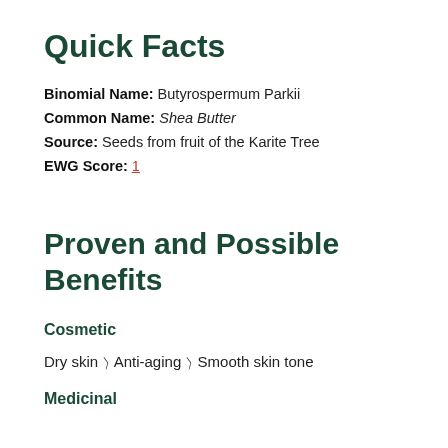Quick Facts
Binomial Name: Butyrospermum Parkii
Common Name: Shea Butter
Source: Seeds from fruit of the Karite Tree
EWG Score: 1
Proven and Possible Benefits
Cosmetic
Dry skin  Anti-aging  Smooth skin tone
Medicinal